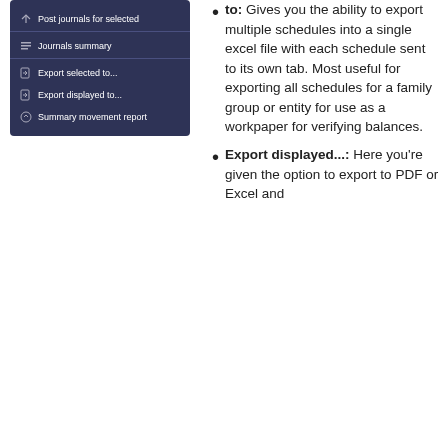[Figure (screenshot): A dark navy dropdown menu showing options: 'Post journals for selected', 'Journals summary' (with divider), 'Export selected to...', 'Export displayed to...', 'Summary movement report']
Export selected to: Gives you the ability to export multiple schedules into a single excel file with each schedule sent to its own tab. Most useful for exporting all schedules for a family group or entity for use as a workpaper for verifying balances.
Export displayed...: Here you're given the option to export to PDF or Excel and